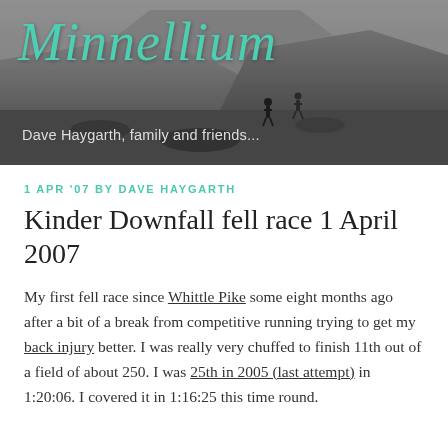[Figure (photo): Gray-scale landscape photo of rocky hills/mountains with two hikers visible in the lower portion. The blog header image for 'Minnellium'.]
Minnellium
Dave Haygarth, family and friends...
1 APR '07 BY DAVE HAYGARTH
Kinder Downfall fell race 1 April 2007
My first fell race since Whittle Pike some eight months ago after a bit of a break from competitive running trying to get my back injury better. I was really very chuffed to finish 11th out of a field of about 250. I was 25th in 2005 (last attempt) in 1:20:06. I covered it in 1:16:25 this time round.